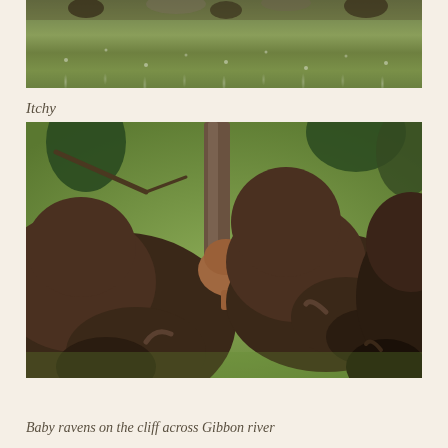[Figure (photo): Partial photo of a green meadow/grassland with scattered wildflowers, appears to show bison or animals at top edge, cropped at top of page]
Itchy
[Figure (photo): Photo of a group of bison (American buffalo) in a green meadow with trees. A small reddish-brown bison calf is visible in the middle, appearing to scratch itself against a tree trunk. Adult bison surround it in the foreground and background.]
Baby ravens on the cliff across Gibbon river